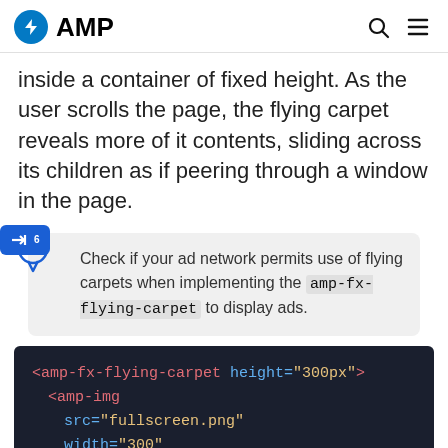AMP
inside a container of fixed height. As the user scrolls the page, the flying carpet reveals more of it contents, sliding across its children as if peering through a window in the page.
Check if your ad network permits use of flying carpets when implementing the amp-fx-flying-carpet to display ads.
[Figure (screenshot): Code block on dark background showing amp-fx-flying-carpet HTML element with height=300px attribute, containing amp-img with src=fullscreen.png, width=300, height=500]